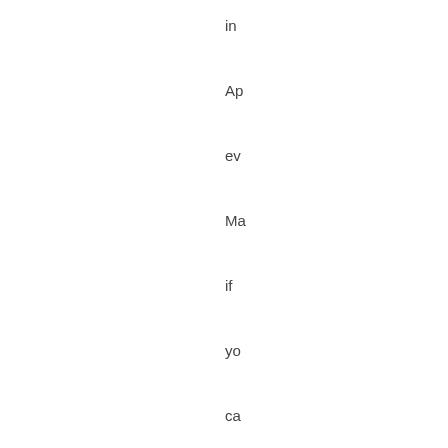in
Ap
ev
Ma
if
yo
ca
Th
wi
ma
so
re-
co
wh
mi
bu
a